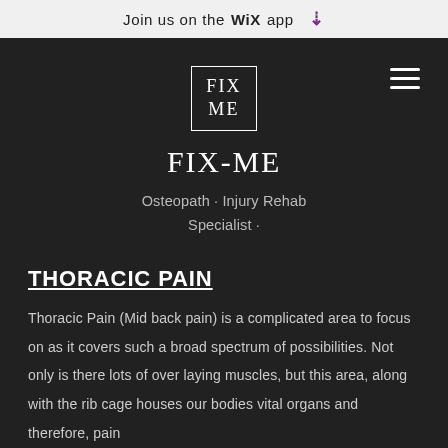Join us on the WiX app ↓
FIX ME
FIX-ME
Osteopath · Injury Rehab Specialist ·
THORACIC PAIN
Thoracic Pain (Mid back pain) is a complicated area to focus on as it covers such a broad spectrum of possibilities. Not only is there lots of over laying muscles, but this area, along with the rib cage houses our bodies vital organs and therefore, pain